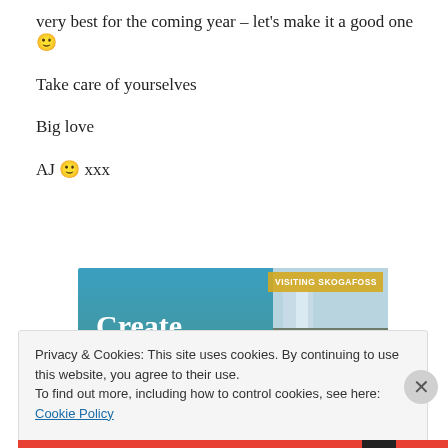very best for the coming year – let's make it a good one 🙂
Take care of yourselves
Big love
AJ 🙂 xxx
[Figure (screenshot): Advertisement banner showing 'Create immersive stories.' text on blue-green gradient background with a photo of a person near a waterfall (Skogafoss) and 'VISITING SKOGAFOSS' label]
Privacy & Cookies: This site uses cookies. By continuing to use this website, you agree to their use.
To find out more, including how to control cookies, see here: Cookie Policy
Close and accept